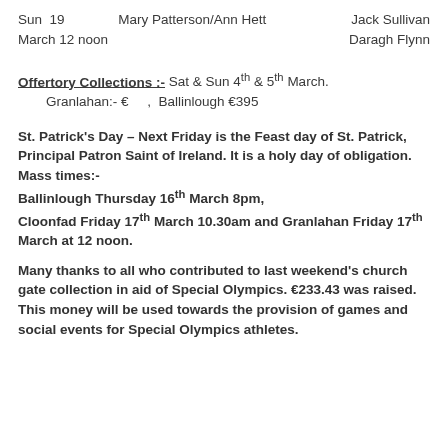Sun  19          Mary Patterson/Ann Hett     Jack Sullivan
March 12 noon
                                                              Daragh Flynn
Offertory Collections :- Sat & Sun 4th & 5th March.
    Granlahan:- €      ,  Ballinlough €395
St. Patrick's Day – Next Friday is the Feast day of St. Patrick, Principal Patron Saint of Ireland. It is a holy day of obligation. Mass times:-
Ballinlough Thursday 16th March 8pm,
Cloonfad Friday 17th March 10.30am and Granlahan Friday 17th March at 12 noon.
Many thanks to all who contributed to last weekend's church gate collection in aid of Special Olympics. €233.43 was raised. This money will be used towards the provision of games and social events for Special Olympics athletes.